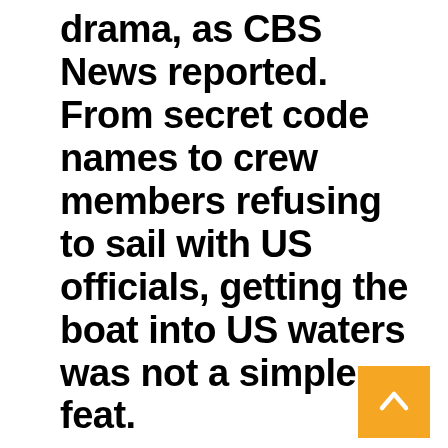drama, as CBS News reported. From secret code names to crew members refusing to sail with US officials, getting the boat into US waters was not a simple feat.
[Figure (other): Orange back-to-top button with white upward chevron arrow in bottom right corner]